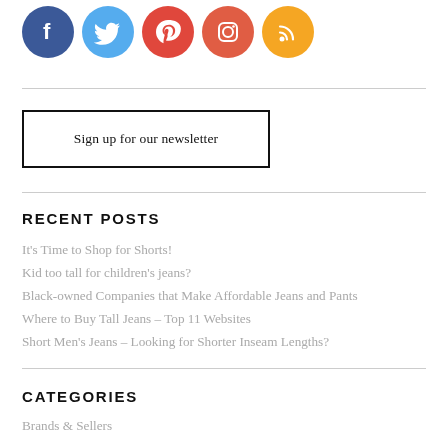[Figure (other): Row of five social media icon circles: Facebook (blue), Twitter (light blue), Pinterest (red), Instagram (orange-red), RSS (orange)]
Sign up for our newsletter
RECENT POSTS
It's Time to Shop for Shorts!
Kid too tall for children's jeans?
Black-owned Companies that Make Affordable Jeans and Pants
Where to Buy Tall Jeans – Top 11 Websites
Short Men's Jeans – Looking for Shorter Inseam Lengths?
CATEGORIES
Brands & Sellers